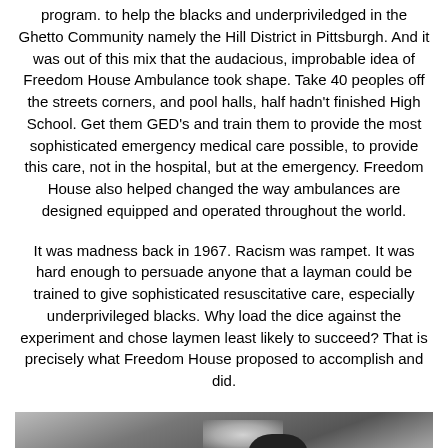program. to help the blacks and underpriviledged in the Ghetto Community namely the Hill District in Pittsburgh. And it was out of this mix that the audacious, improbable idea of Freedom House Ambulance took shape. Take 40 peoples off the streets corners, and pool halls, half hadn't finished High School. Get them GED's and train them to provide the most sophisticated emergency medical care possible, to provide this care, not in the hospital, but at the emergency. Freedom House also helped changed the way ambulances are designed equipped and operated throughout the world.
It was madness back in 1967. Racism was rampet. It was hard enough to persuade anyone that a layman could be trained to give sophisticated resuscitative care, especially underprivileged blacks. Why load the dice against the experiment and chose laymen least likely to succeed? That is precisely what Freedom House proposed to accomplish and did.
[Figure (photo): Black and white photograph showing a person from above, with overhead lighting visible in the ceiling.]